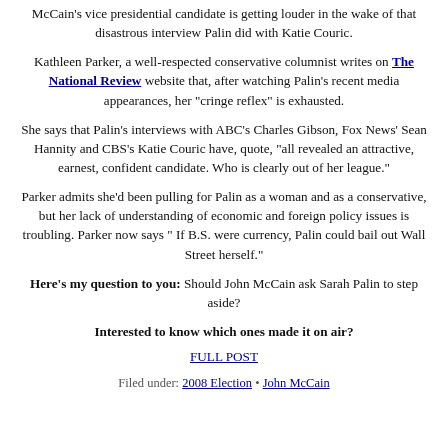McCain's vice presidential candidate is getting louder in the wake of that disastrous interview Palin did with Katie Couric.
Kathleen Parker, a well-respected conservative columnist writes on The National Review website that, after watching Palin's recent media appearances, her "cringe reflex" is exhausted.
She says that Palin's interviews with ABC's Charles Gibson, Fox News' Sean Hannity and CBS's Katie Couric have, quote, "all revealed an attractive, earnest, confident candidate. Who is clearly out of her league."
Parker admits she'd been pulling for Palin as a woman and as a conservative, but her lack of understanding of economic and foreign policy issues is troubling. Parker now says " If B.S. were currency, Palin could bail out Wall Street herself."
Here's my question to you: Should John McCain ask Sarah Palin to step aside?
Interested to know which ones made it on air?
FULL POST
Filed under: 2008 Election • John McCain